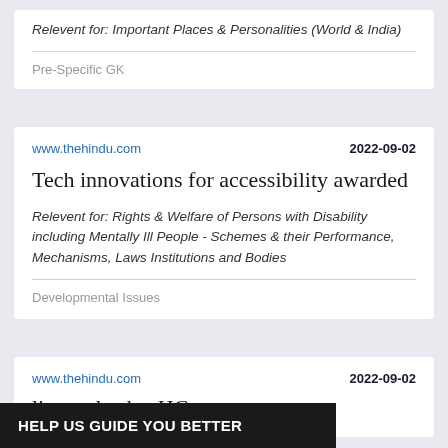Relevent for: Important Places & Personalities (World & India)
Pre-Specific GK
www.thehindu.com
2022-09-02
Tech innovations for accessibility awarded
Relevent for: Rights & Welfare of Persons with Disability including Mentally Ill People - Schemes & their Performance, Mechanisms, Laws Institutions and Bodies
Developmental Issues
www.thehindu.com
2022-09-02
liquor deaths: HC
HELP US GUIDE YOU BETTER